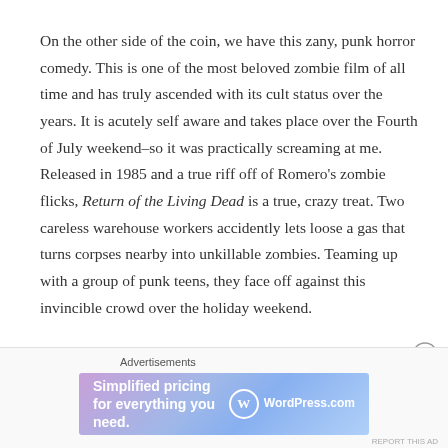On the other side of the coin, we have this zany, punk horror comedy. This is one of the most beloved zombie film of all time and has truly ascended with its cult status over the years. It is acutely self aware and takes place over the Fourth of July weekend–so it was practically screaming at me. Released in 1985 and a true riff off of Romero's zombie flicks, Return of the Living Dead is a true, crazy treat. Two careless warehouse workers accidently lets loose a gas that turns corpses nearby into unkillable zombies. Teaming up with a group of punk teens, they face off against this invincible crowd over the holiday weekend.
Advertisements
[Figure (other): WordPress.com advertisement banner with text 'Simplified pricing for everything you need.' and WordPress.com logo on a purple-blue gradient background]